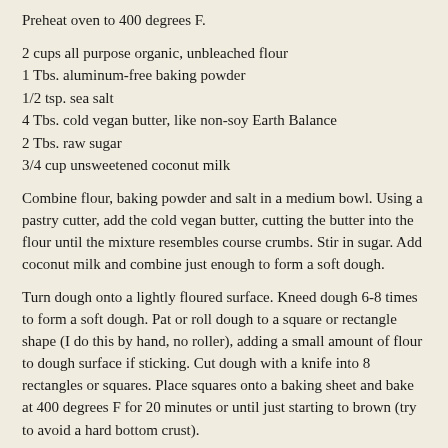Preheat oven to 400 degrees F.
2 cups all purpose organic, unbleached flour
1 Tbs. aluminum-free baking powder
1/2 tsp. sea salt
4 Tbs. cold vegan butter, like non-soy Earth Balance
2 Tbs. raw sugar
3/4 cup unsweetened coconut milk
Combine flour, baking powder and salt in a medium bowl. Using a pastry cutter, add the cold vegan butter, cutting the butter into the flour until the mixture resembles course crumbs. Stir in sugar. Add coconut milk and combine just enough to form a soft dough.
Turn dough onto a lightly floured surface. Kneed dough 6-8 times to form a soft dough. Pat or roll dough to a square or rectangle shape (I do this by hand, no roller), adding a small amount of flour to dough surface if sticking. Cut dough with a knife into 8 rectangles or squares. Place squares onto a baking sheet and bake at 400 degrees F for 20 minutes or until just starting to brown (try to avoid a hard bottom crust).